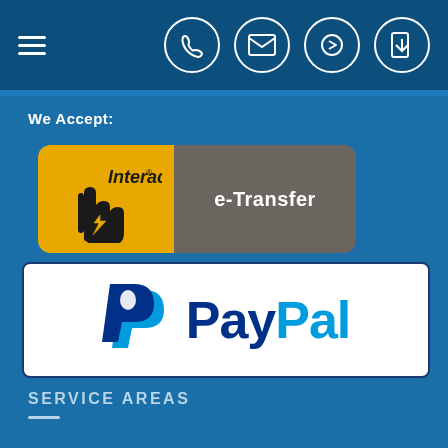[Figure (other): Navigation bar with hamburger menu icon and four circular icon buttons (phone, mail, login, download) on dark blue background]
We Accept:
[Figure (logo): Interac e-Transfer logo: yellow square with Interac brand mark on left, grey rectangle with 'e-Transfer' text on right]
[Figure (logo): PayPal logo: white rectangle with dark blue border showing PayPal P symbol and PayPal wordmark in dark blue and light blue]
SERVICE AREAS